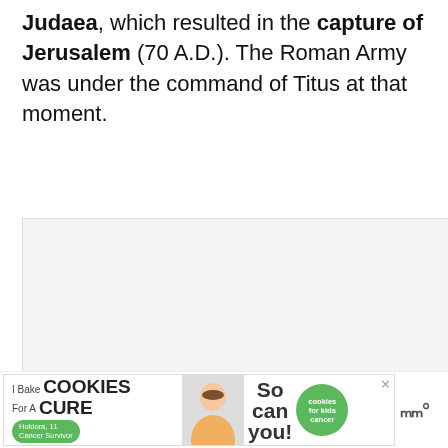Judaea, which resulted in the capture of Jerusalem (70 A.D.). The Roman Army was under the command of Titus at that moment.
[Figure (other): Embedded content area (ad/video placeholder) with three dots in center, heart/like button (blue circle), count of 2, share button, and 'What's Next – Top 10 Famous...' widget with thumbnail]
[Figure (other): Advertisement banner: 'I Bake COOKIES For A CURE – Holdora, 11 Cancer Survivor – So can you! – cookies for kids cancer' with woman photo and green close button]